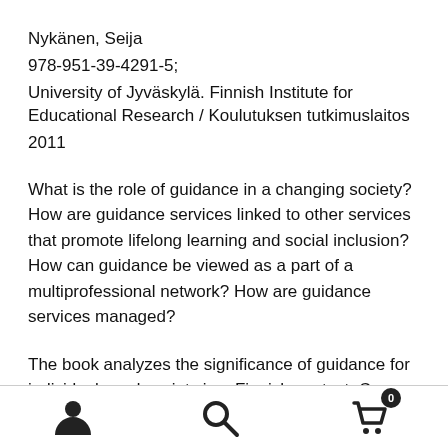Nykänen, Seija
978-951-39-4291-5;
University of Jyväskylä. Finnish Institute for Educational Research / Koulutuksen tutkimuslaitos
2011
What is the role of guidance in a changing society? How are guidance services linked to other services that promote lifelong learning and social inclusion? How can guidance be viewed as a part of a multiprofessional network? How are guidance services managed?
The book analyzes the significance of guidance for individuals and society in a Finnish context. Career
[Figure (infographic): Bottom navigation bar with three icons: person/user icon on the left, search/magnifying glass icon in the center, and shopping cart icon with badge showing '0' on the right.]